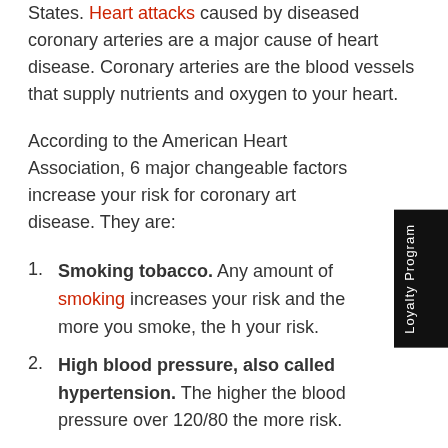States. Heart attacks caused by diseased coronary arteries are a major cause of heart disease. Coronary arteries are the blood vessels that supply nutrients and oxygen to your heart.
According to the American Heart Association, 6 major changeable factors increase your risk for coronary artery disease. They are:
Smoking tobacco. Any amount of smoking increases your risk and the more you smoke, the higher your risk.
High blood pressure, also called hypertension. The higher the blood pressure over 120/80 the more risk.